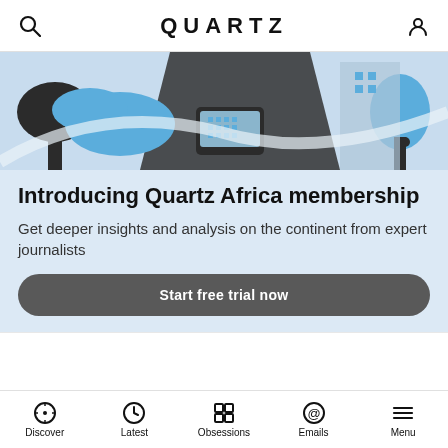QUARTZ
[Figure (illustration): Colorful illustration in blue, dark gray and off-white showing city buildings, trees, a tablet device, and abstract shapes representing Africa.]
Introducing Quartz Africa membership
Get deeper insights and analysis on the continent from expert journalists
Start free trial now
[Figure (photo): Thumbnail photo of people, used as article preview image.]
TOP JOBS
Microsoft is leading Big Tech's push to
Discover  Latest  Obsessions  Emails  Menu